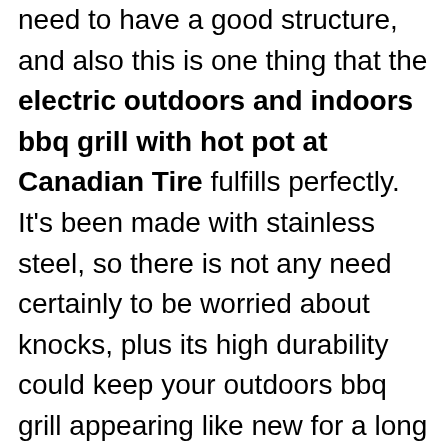need to have a good structure, and also this is one thing that the electric outdoors and indoors bbq grill with hot pot at Canadian Tire fulfills perfectly. It's been made with stainless steel, so there is not any need certainly to be worried about knocks, plus its high durability could keep your outdoors bbq grill appearing like new for a long time to come.
6. Grill height adjuster for grills: Achieving the ideal cooking is determined by how high you place your food set alongside the coals. But by way of this model, you